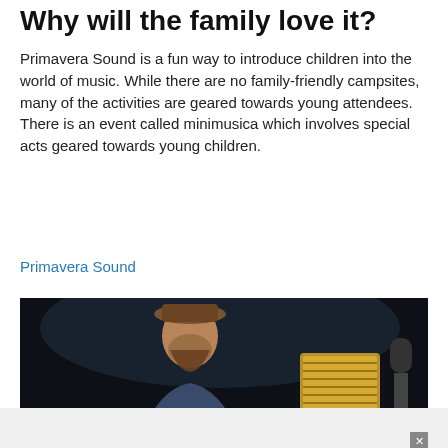Why will the family love it?
Primavera Sound is a fun way to introduce children into the world of music. While there are no family-friendly campsites, many of the activities are geared towards young attendees. There is an event called minimusica which involves special acts geared towards young children.
Primavera Sound
[Figure (photo): A bearded man wearing a brown cap playing a musical instrument (accordion) on a dark stage background]
[Figure (photo): Ulta Beauty advertisement banner showing makeup products and model faces with SHOP NOW call to action]